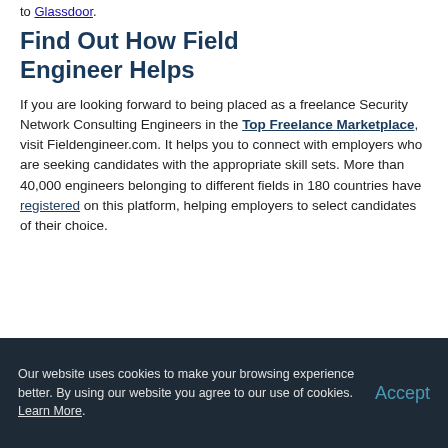to Glassdoor.
Find Out How Field Engineer Helps
If you are looking forward to being placed as a freelance Security Network Consulting Engineers in the Top Freelance Marketplace, visit Fieldengineer.com. It helps you to connect with employers who are seeking candidates with the appropriate skill sets. More than 40,000 engineers belonging to different fields in 180 countries have registered on this platform, helping employers to select candidates of their choice.
Our website uses cookies to make your browsing experience better. By using our website you agree to our use of cookies. Learn More.
Accept